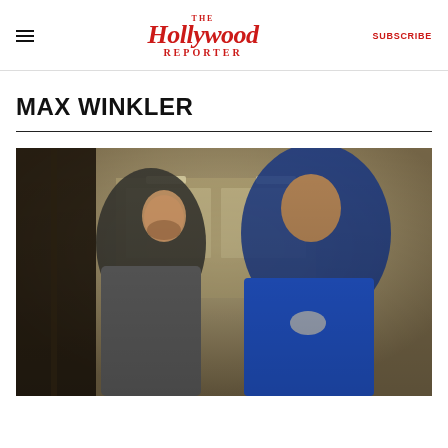The Hollywood Reporter — SUBSCRIBE
MAX WINKLER
[Figure (photo): Two men in a confrontational scene inside what appears to be an office or institutional building. Left man wearing a grey short-sleeve shirt, right man wearing a blue shirt.]